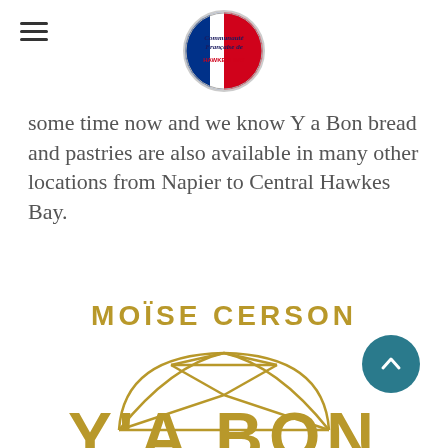Communauté Française de Hawke's Bay (logo)
some time now and we know Y a Bon bread and pastries are also available in many other locations from Napier to Central Hawkes Bay.
[Figure (logo): Moïse Cerson Y'A BON brand logo with geometric dome/arch shape in gold color and text]
MOÏSE CERSON
Y'A BON